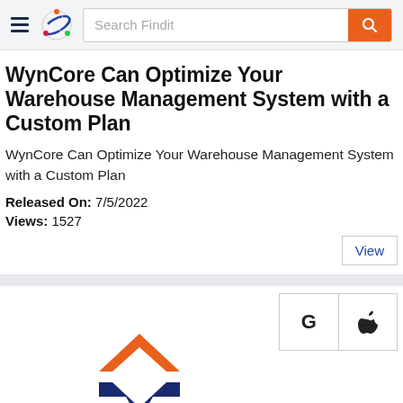Search Findit
WynCore Can Optimize Your Warehouse Management System with a Custom Plan
WynCore Can Optimize Your Warehouse Management System with a Custom Plan
Released On: 7/5/2022
Views: 1527
[Figure (logo): WynCore logo: orange and blue chevron/arrow W shape]
[Figure (logo): Google G sign-in button and Apple sign-in button in a card]